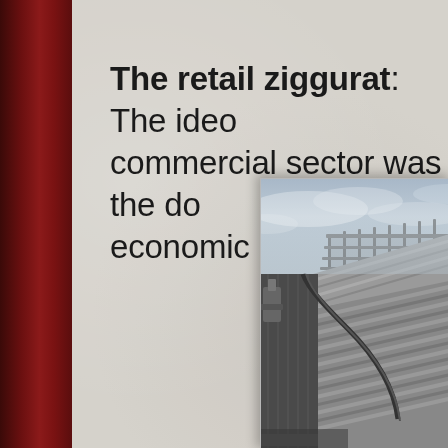The retail ziggurat: The ideo commercial sector was the do economic model
[Figure (photo): Black and white photograph of a retail building exterior showing a stepped/tiered roof structure with metal railings and corrugated metal siding, photographed from a low angle against a cloudy sky.]